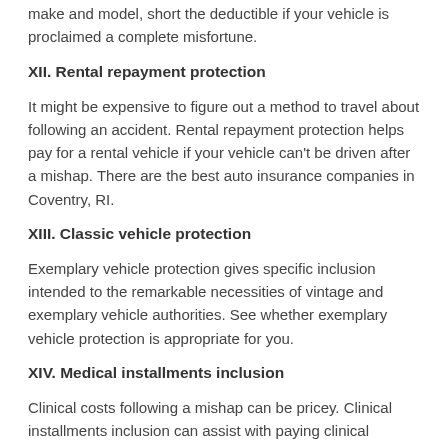make and model, short the deductible if your vehicle is proclaimed a complete misfortune.
XII. Rental repayment protection
It might be expensive to figure out a method to travel about following an accident. Rental repayment protection helps pay for a rental vehicle if your vehicle can't be driven after a mishap. There are the best auto insurance companies in Coventry, RI.
XIII. Classic vehicle protection
Exemplary vehicle protection gives specific inclusion intended to the remarkable necessities of vintage and exemplary vehicle authorities. See whether exemplary vehicle protection is appropriate for you.
XIV. Medical installments inclusion
Clinical costs following a mishap can be pricey. Clinical installments inclusion can assist with paying clinical expenses